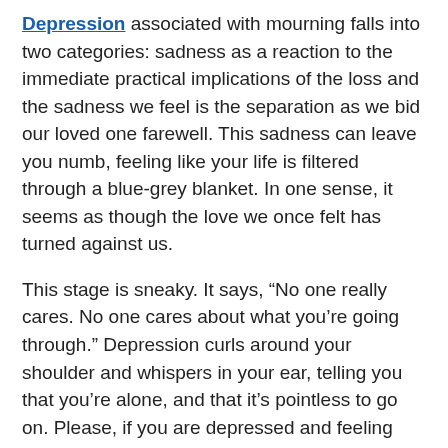Depression associated with mourning falls into two categories: sadness as a reaction to the immediate practical implications of the loss and the sadness we feel is the separation as we bid our loved one farewell. This sadness can leave you numb, feeling like your life is filtered through a blue-grey blanket. In one sense, it seems as though the love we once felt has turned against us.
This stage is sneaky. It says, “No one really cares. No one cares about what you’re going through.” Depression curls around your shoulder and whispers in your ear, telling you that you’re alone, and that it’s pointless to go on. Please, if you are depressed and feeling that self-harm or dying is an option, please seek help. If you feel like no one is listening, keep asking for help until someone does.